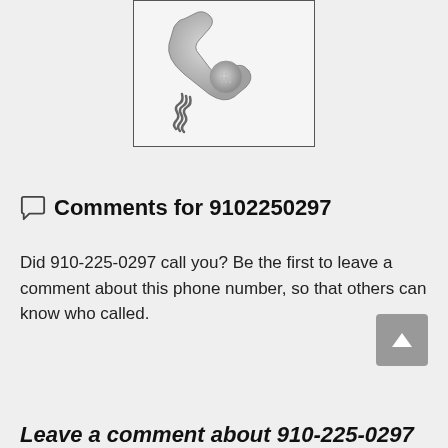[Figure (illustration): A gray telephone handset with a coiled cord, displayed inside a bordered box.]
Comments for 9102250297
Did 910-225-0297 call you? Be the first to leave a comment about this phone number, so that others can know who called.
Leave a comment about 910-225-0297